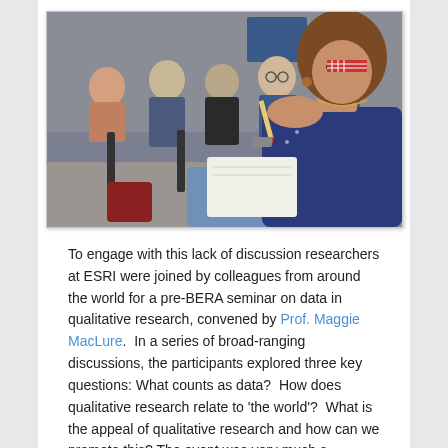[Figure (photo): A seminar or workshop scene showing a group of researchers seated in a room, listening attentively. In the foreground is a woman with brown curly hair wearing a blue top, holding a pencil to her mouth. Other participants, male and female, are visible in the background seated in chairs, some taking notes.]
To engage with this lack of discussion researchers at ESRI were joined by colleagues from around the world for a pre-BERA seminar on data in qualitative research, convened by Prof. Maggie MacLure.  In a series of broad-ranging discussions, the participants explored three key questions: What counts as data?  How does qualitative research relate to 'the world'?  What is the appeal of qualitative research and how can we promote this? The event was very much a beginning of what we hope will be